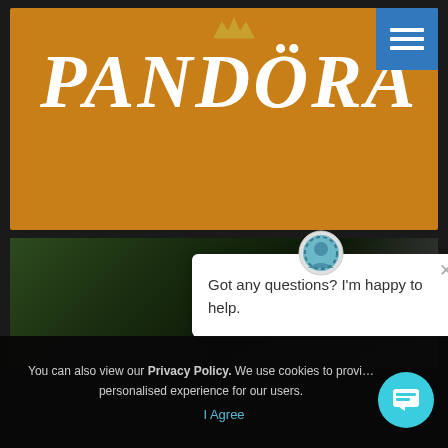[Figure (logo): Pandora logo on orange background with hamburger menu button]
[Figure (photo): Dark forest/foliage image strip]
[Figure (screenshot): Chat popup with avatar icon saying 'Got any questions? I'm happy to help.' with close X button]
You can also view our Privacy Policy. We use cookies to provide a personalised experience for our users.
I Agree